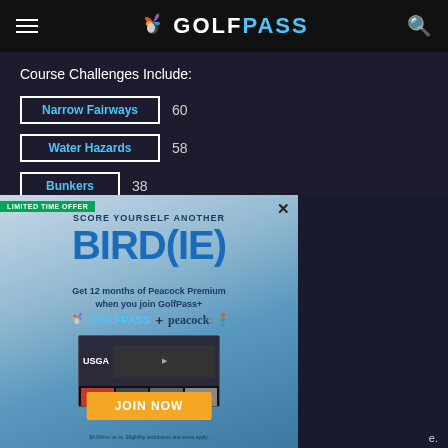GOLFPASS
Course Challenges Include:
Narrow Fairways  60
Water Hazards  58
Bunkers  38
[Figure (infographic): GolfPass+ promotional advertisement. LIMITED TIME OFFER badge. Text: SCORE YOURSELF ANOTHER BIRD(IE). Get 12 months of Peacock Premium when you join GolfPass+. GolfPass + Peacock logos. Screen showing USGA content. JOIN NOW button. Fine print: $4.99/mo vs us. Eligibility restrictions and terms apply.]